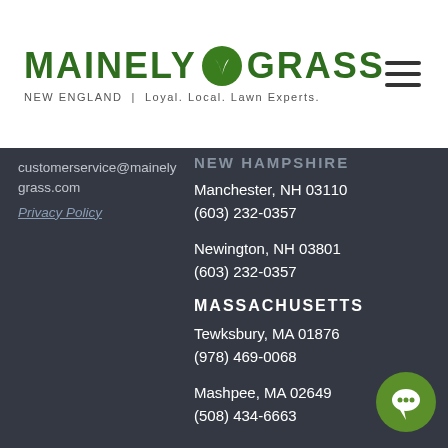[Figure (logo): Mainely Grass logo with green leaf icon and tagline 'NEW ENGLAND | Loyal. Local. Lawn Experts.']
customerservice@mainely grass.com
Privacy Policy
NEW HAMPSHIRE
Manchester, NH 03110
(603) 232-0357
Newington, NH 03801
(603) 232-0357
MASSACHUSETTS
Tewksbury, MA 01876
(978) 469-0068
Mashpee, MA 02649
(508) 434-6663